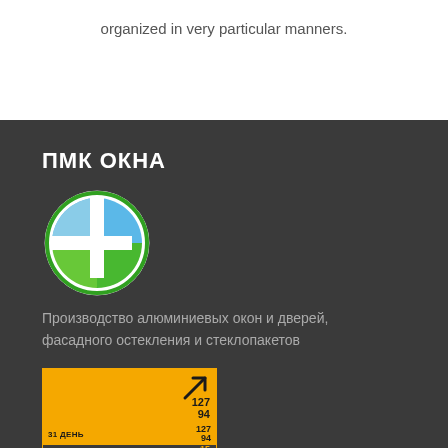organized in very particular manners.
ПМК ОКНА
[Figure (logo): Circular logo with blue and green quadrants divided by a white cross, on white circle with green outline — ПМК ОКНА company logo]
Производство алюминиевых окон и дверей, фасадного остекления и стеклопакетов
[Figure (infographic): Orange and dark stats widget showing: arrow up icon, 31 ДЕНЬ 127/94, 07 ДНЕЙ 15/14, 24 ЧАСА 7/7, СЕГОДНЯ 7/7, НА ЛИНИИ 1/1]